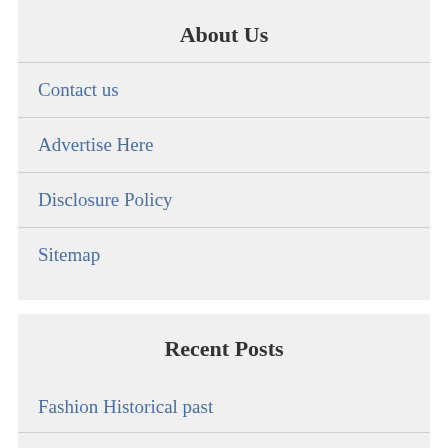About Us
Contact us
Advertise Here
Disclosure Policy
Sitemap
Recent Posts
Fashion Historical past
Online Shop